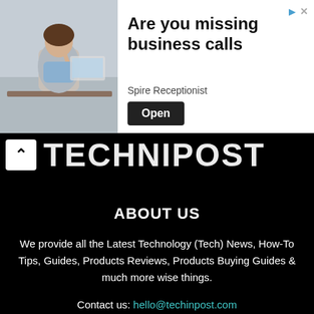[Figure (screenshot): Advertisement banner: woman sitting at desk in office, with text 'Are you missing business calls', 'Spire Receptionist', and an 'Open' button]
TechniPost logo header with back chevron button
ABOUT US
We provide all the Latest Technology (Tech) News, How-To Tips, Guides, Products Reviews, Products Buying Guides & much more wise things.
Contact us: hello@techinpost.com